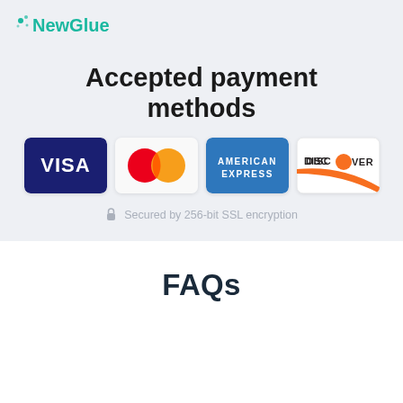[Figure (logo): NewGlue logo with teal text and dot/sparkle icon]
Accepted payment methods
[Figure (infographic): Four payment method logos: Visa (dark blue card), Mastercard (red/orange overlapping circles), American Express (blue card), Discover (white card with orange swoosh)]
🔒 Secured by 256-bit SSL encryption
FAQs